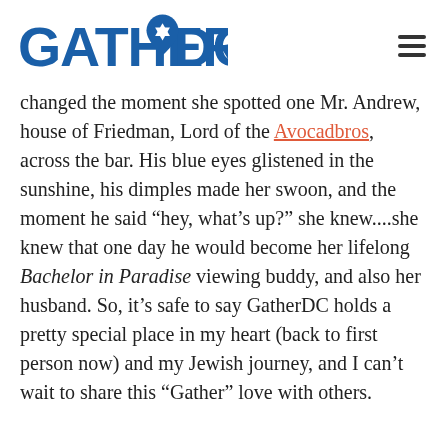[Figure (logo): GatherDC logo — bold blue text GATHER and DC with a blue Star of David map pin icon between them]
changed the moment she spotted one Mr. Andrew, house of Friedman, Lord of the Avocadbros, across the bar. His blue eyes glistened in the sunshine, his dimples made her swoon, and the moment he said “hey, what’s up?” she knew....she knew that one day he would become her lifelong Bachelor in Paradise viewing buddy, and also her husband. So, it’s safe to say GatherDC holds a pretty special place in my heart (back to first person now) and my Jewish journey, and I can’t wait to share this “Gather” love with others.